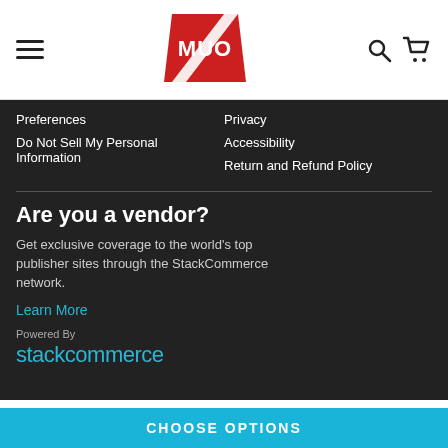[Figure (logo): MUO logo — red shield with white text MUO]
Preferences
Privacy
Do Not Sell My Personal Information
Accessibility
Return and Refund Policy
Are you a vendor?
Get exclusive coverage to the world's top publisher sites through the StackCommerce network.
Learn More
Powered By
stackcommerce
CHOOSE OPTIONS